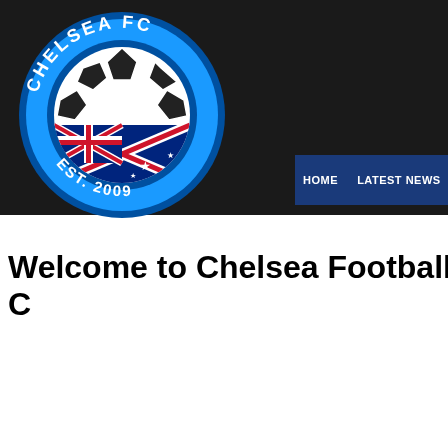[Figure (logo): Chelsea FC logo: circular badge with bright blue background, white text 'CHELSEA FC' at top and 'EST. 2009' at bottom, featuring a football/soccer ball with an Australian flag design in the center]
HOME   LATEST NEWS   RE
Welcome to Chelsea Football C